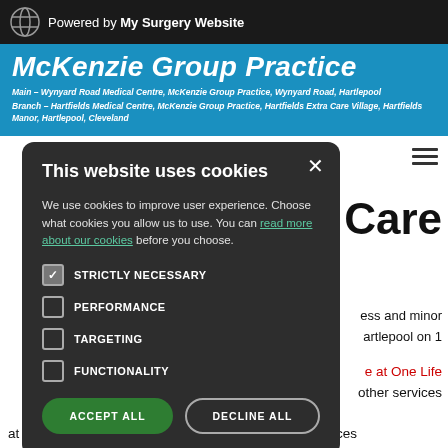Powered by My Surgery Website
McKenzie Group Practice
Main – Wynyard Road Medical Centre, McKenzie Group Practice, Wynyard Road, Hartlepool
Branch – Hartfields Medical Centre, McKenzie Group Practice, Hartfields Extra Care Village, Hartfields Manor, Hartlepool, Cleveland
[Figure (screenshot): Cookie consent modal dialog on McKenzie Group Practice website. Modal has dark background with title 'This website uses cookies', body text explaining cookie usage with a green link 'read more about our cookies', four checkbox options (STRICTLY NECESSARY checked, PERFORMANCE, TARGETING, FUNCTIONALITY unchecked), and two buttons: ACCEPT ALL (green) and DECLINE ALL (outlined).]
Care
ess and minor artlepool on 1
e at One Life other services at One Life will remain. Walk-in and minor injuries services